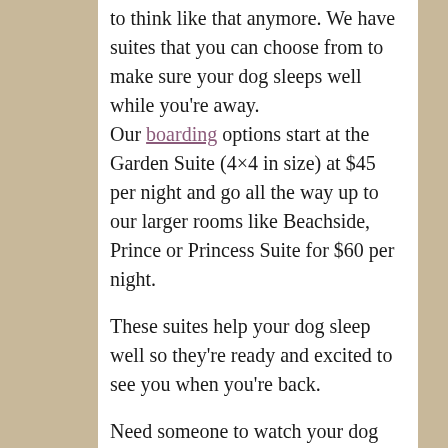to think like that anymore. We have suites that you can choose from to make sure your dog sleeps well while you're away. Our boarding options start at the Garden Suite (4×4 in size) at $45 per night and go all the way up to our larger rooms like Beachside, Prince or Princess Suite for $60 per night.
These suites help your dog sleep well so they're ready and excited to see you when you're back.
Need someone to watch your dog while you're away on business? Leave that to us! We've helped multiple families and friends